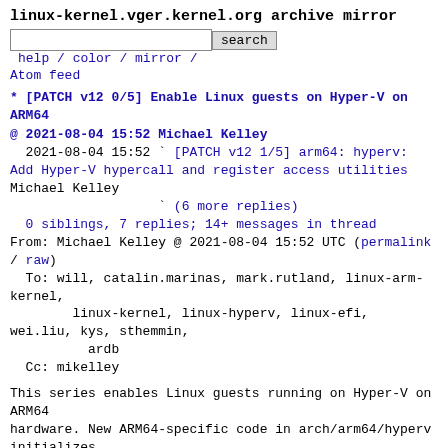linux-kernel.vger.kernel.org archive mirror
search  help / color / mirror / Atom feed
* [PATCH v12 0/5] Enable Linux guests on Hyper-V on ARM64
@ 2021-08-04 15:52 Michael Kelley
  2021-08-04 15:52 ` [PATCH v12 1/5] arm64: hyperv: Add Hyper-V hypercall and register access utilities Michael Kelley
                   ` (6 more replies)
  0 siblings, 7 replies; 14+ messages in thread
From: Michael Kelley @ 2021-08-04 15:52 UTC (permalink / raw)
  To: will, catalin.marinas, mark.rutland, linux-arm-kernel,
        linux-kernel, linux-hyperv, linux-efi, wei.liu, kys, sthemmin,
          ardb
  Cc: mikelley
This series enables Linux guests running on Hyper-V on ARM64
hardware. New ARM64-specific code in arch/arm64/hyperv initializes
Hyper-V and its hypercall mechanism.  Existing architecture
independent drivers for Hyper-V's VMbus and synthetic
devices just